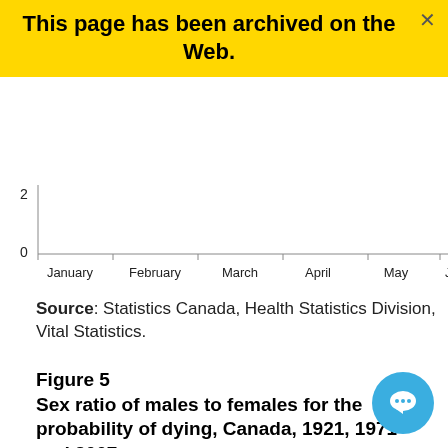This page has been archived on the Web.
[Figure (continuous-plot): Bottom portion of a line chart showing x-axis labels: January, February, March, April, May, June. Y-axis shows values 0 and 2 visible.]
Source: Statistics Canada, Health Statistics Division, Vital Statistics.
Figure 5
Sex ratio of males to females for the probability of dying, Canada, 1921, 1971 and 2007